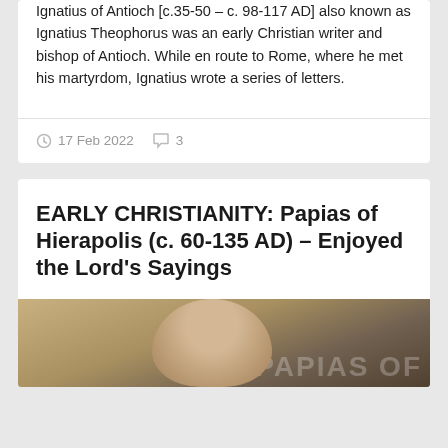Ignatius of Antioch [c.35-50 – c. 98-117 AD] also known as Ignatius Theophorus was an early Christian writer and bishop of Antioch. While en route to Rome, where he met his martyrdom, Ignatius wrote a series of letters.
17 Feb 2022   3
EARLY CHRISTIANITY: Papias of Hierapolis (c. 60-135 AD) – Enjoyed the Lord's Sayings
[Figure (photo): Partial view of a historical painting showing a figure, partially visible at the bottom of the page, with dark background and text overlay.]